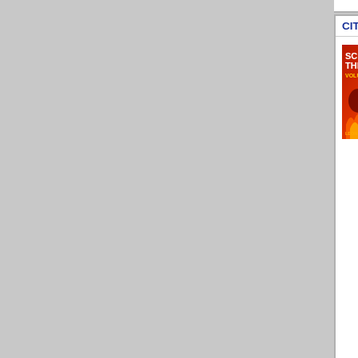CITY OF THE DEAD/LEGEND OF WITC...
[Figure (photo): DVD cover for Scream Theater Volume 1 showing horror movie imagery]
A Halloween d... OF THE WITC... get creeped d... witch and wa...
CLANCY STREET BOYS (1943) - DVD...
[Figure (photo): DVD cover for Clancy Street Boys (East Side Kids) 1943 film]
Stars Leo Go... Gorcey's Unc...